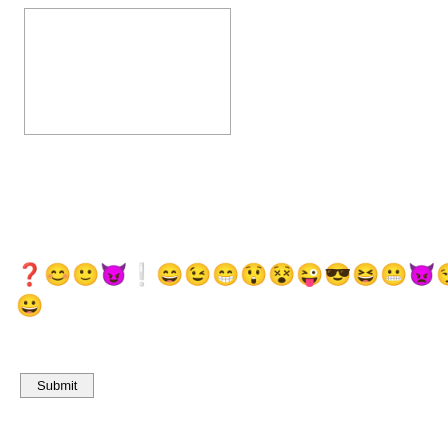[Figure (screenshot): A web form textarea input box, empty, with resize handle in bottom-right corner]
[Figure (infographic): A row of emoji/emoticon icons: blue question mark, yellow smiley faces (various expressions including happy, wink, devil, exclamation, grin, wink, big grin, surprised, cyclops, wink tongue, sunglasses, laughing, teeth grin, devil grin, smirk, wink smirk), light bulb, blue arrow, two more yellow smiley faces; second row has one green smiley face]
[Figure (screenshot): A Submit button with gray border and white background]